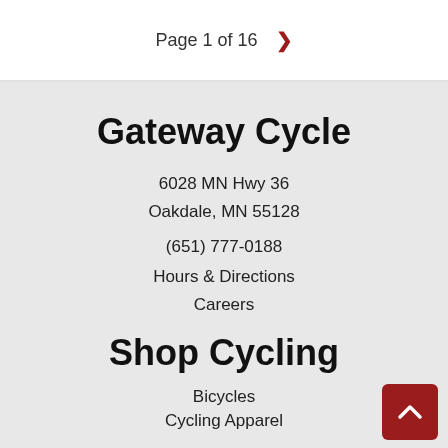Page 1 of 16 >
Gateway Cycle
6028 MN Hwy 36
Oakdale, MN 55128
(651) 777-0188
Hours & Directions
Careers
Shop Cycling
Bicycles
Cycling Apparel